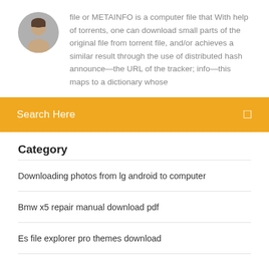[Figure (photo): Circular avatar photo of a man]
file or METAINFO is a computer file that With help of torrents, one can download small parts of the original file from torrent file, and/or achieves a similar result through the use of distributed hash announce—the URL of the tracker; info—this maps to a dictionary whose
Search Here
Category
Downloading photos from lg android to computer
Bmw x5 repair manual download pdf
Es file explorer pro themes download